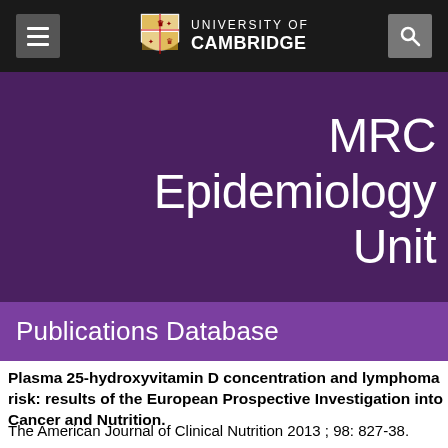[Figure (logo): University of Cambridge logo with shield and navigation bar on black background]
MRC Epidemiology Unit
Publications Database
Plasma 25-hydroxyvitamin D concentration and lymphoma risk: results of the European Prospective Investigation into Cancer and Nutrition.
The American Journal of Clinical Nutrition 2013 ; 98: 827-38.